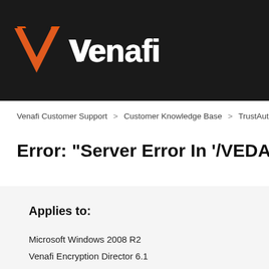[Figure (logo): Venafi logo: orange/red V chevron icon with white 'Venafi' wordmark on dark background header bar]
Venafi Customer Support > Customer Knowledge Base > TrustAuthority/Trust
Error: "Server Error In '/VEDAdmin' Applica
Applies to:
Microsoft Windows 2008 R2
Venafi Encryption Director 6.1